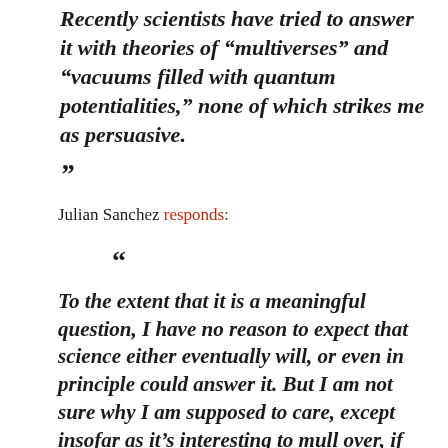Recently scientists have tried to answer it with theories of "multiverses" and "vacuums filled with quantum potentialities," none of which strikes me as persuasive.
”
Julian Sanchez responds:
“
To the extent that it is a meaningful question, I have no reason to expect that science either eventually will, or even in principle could answer it. But I am not sure why I am supposed to care, except insofar as it’s interesting to mull over, if you go for that sort of thing. Suppose I allow that it is a genuine mystery—radically uncertain, even. It’s outside the realm about which we can talk meaningfully or offer evidence. So